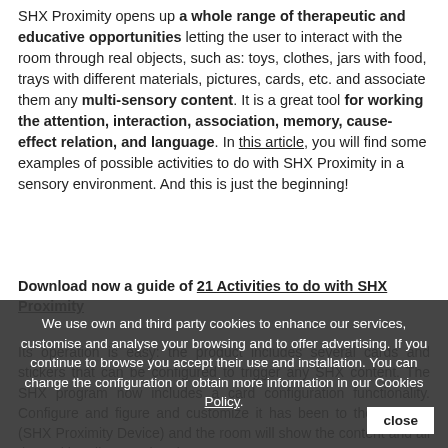SHX Proximity opens up a whole range of therapeutic and educative opportunities letting the user to interact with the room through real objects, such as: toys, clothes, jars with food, trays with different materials, pictures, cards, etc. and associate them any multi-sensory content. It is a great tool for working the attention, interaction, association, memory, cause-effect relation, and language. In this article, you will find some examples of possible activities to do with SHX Proximity in a sensory environment. And this is just the beginning!
Download now a guide of 21 Activities to do with SHX Proximity
Its operation is easy: the product includes several cards and stickers that can be configured to trigger any SHX content. The SHX program now includes a card configuration functionality. Configure and customize it has been to the platform (SHX Proximity Device) and the room will show the content and all the multimedia associated.
We use own and third party cookies to enhance our services, customise and analyse your browsing and to offer advertising. If you continue to browse you accept their use and installation. You can change the configuration or obtain more information in our Cookies Policy.